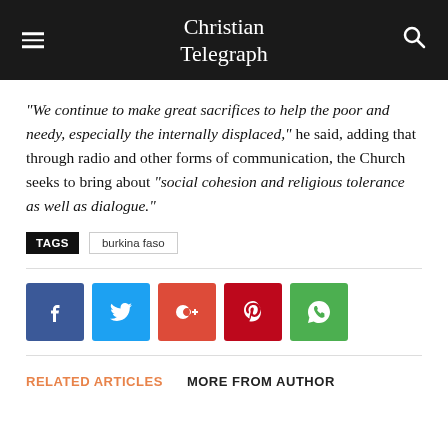Christian Telegraph
“We continue to make great sacrifices to help the poor and needy, especially the internally displaced,” he said, adding that through radio and other forms of communication, the Church seeks to bring about “social cohesion and religious tolerance as well as dialogue.”
TAGS  burkina faso
[Figure (infographic): Social media share buttons: Facebook, Twitter, Google+, Pinterest, WhatsApp]
RELATED ARTICLES  MORE FROM AUTHOR